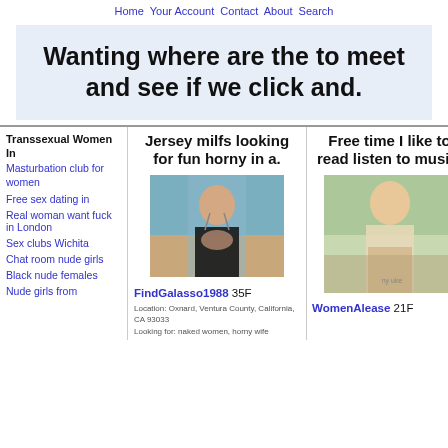Home Your Account Contact About Search
Wanting where are the to meet and see if we click and.
Transsexual Women In
Masturbation club for women
Free sex dating in
Real woman want fuck in London
Sex clubs Wichita
Chat room nude girls
Black nude females
Nude girls from
Jersey milfs looking for fun horny in a.
[Figure (photo): Woman outdoors making gesture]
FindGalasso1988 35F
Location: Oxnard, Ventura County, California, CA 93033
Looking for: naked women, horny wife
Free time I like to read listen to music.
[Figure (photo): Blonde woman in light outfit outdoors]
WomenAlease 21F